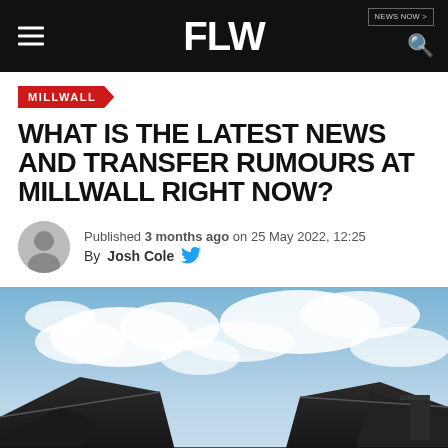FLW
MILLWALL
WHAT IS THE LATEST NEWS AND TRANSFER RUMOURS AT MILLWALL RIGHT NOW?
Published 3 months ago on 25 May 2022, 12:25
By Josh Cole
[Figure (photo): A stadium roof structure viewed from below against a cloudy blue sky]